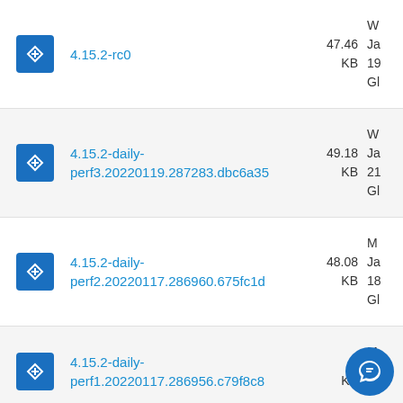4.15.2-rc0  47.46 KB  Ja 19 G
4.15.2-daily-perf3.20220119.287283.dbc6a35  49.18 KB  Ja 21 G
4.15.2-daily-perf2.20220117.286960.675fc1d  48.08 KB  Ja 18 G
4.15.2-daily-perf1.20220117.286956.c79f8c8  KB  Ja 18